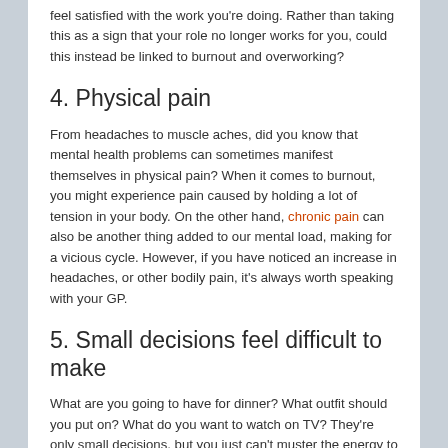feel satisfied with the work you're doing. Rather than taking this as a sign that your role no longer works for you, could this instead be linked to burnout and overworking?
4. Physical pain
From headaches to muscle aches, did you know that mental health problems can sometimes manifest themselves in physical pain? When it comes to burnout, you might experience pain caused by holding a lot of tension in your body. On the other hand, chronic pain can also be another thing added to our mental load, making for a vicious cycle. However, if you have noticed an increase in headaches, or other bodily pain, it's always worth speaking with your GP.
5. Small decisions feel difficult to make
What are you going to have for dinner? What outfit should you put on? What do you want to watch on TV? They're only small decisions, but you just can't muster the energy to make your mind up. This could be linked